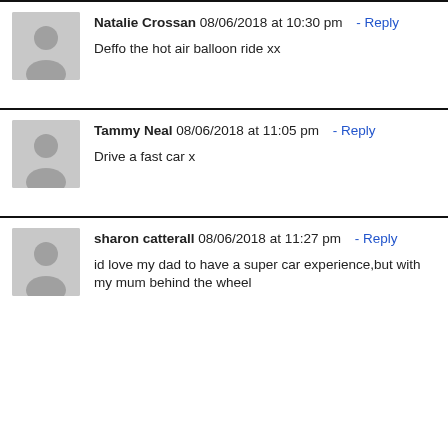Natalie Crossan 08/06/2018 at 10:30 pm - Reply
Deffo the hot air balloon ride xx
Tammy Neal 08/06/2018 at 11:05 pm - Reply
Drive a fast car x
sharon catterall 08/06/2018 at 11:27 pm - Reply
id love my dad to have a super car experience,but with my mum behind the wheel